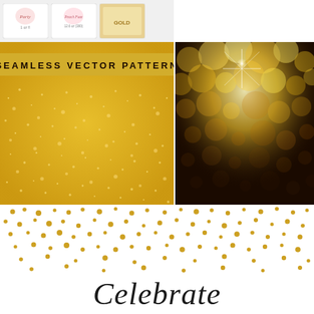[Figure (illustration): Top strip showing product thumbnail cards with decorative text on white/grey backgrounds]
[Figure (illustration): Gold glitter seamless vector pattern with banner label reading SEAMLESS VECTOR PATTERN]
[Figure (photo): Dark background with golden bokeh/defocused lights creating a festive glowing effect]
[Figure (illustration): White background with scattered gold confetti dots pattern and script text Celebrate at bottom]